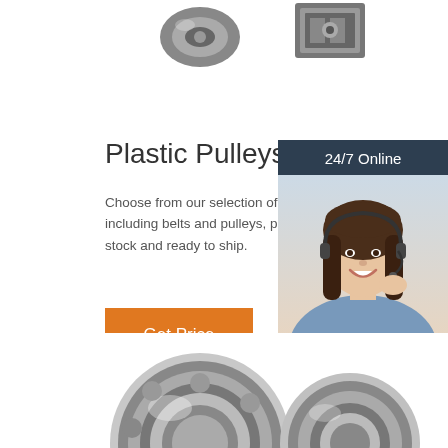[Figure (photo): Partial product images (pulleys/hardware) at the top of the page, cropped]
Plastic Pulleys
Choose from our selection of plastic pulleys, including belts and pulleys, pulleys, and more. In stock and ready to ship.
[Figure (infographic): Orange 'Get Price' button]
[Figure (photo): 24/7 Online chat widget with photo of smiling woman with headset, 'Click here for free chat!' text, and orange QUOTATION button]
[Figure (photo): Partial product image of a bearing/mechanical component at the bottom of the page, cropped]